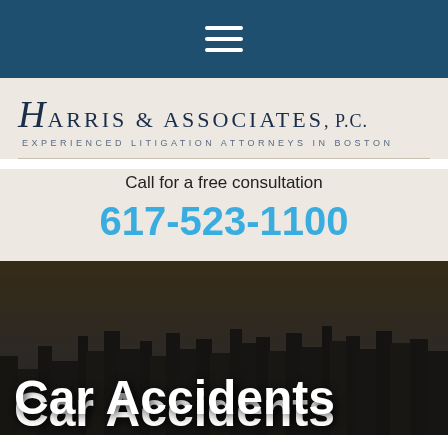[Figure (other): Navigation bar with hamburger menu icon (three horizontal white lines) on dark teal/navy background]
[Figure (logo): Harris & Associates, P.C. law firm logo with stylized H and tagline 'Experienced Litigation Attorneys in Boston']
Call for a free consultation
617-523-1100
[Figure (photo): City skyline (Boston) with dark overlay and white bold text 'Car Accidents' at the bottom]